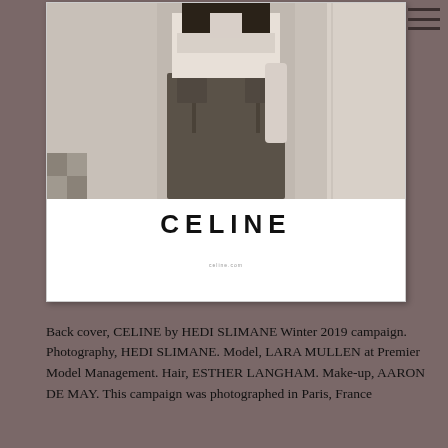[Figure (photo): CELINE fashion advertisement showing a black and white photo of a model wearing jeans and a cropped top, with the CELINE brand name printed in bold letters below the photo. A small URL appears at the bottom of the ad.]
Back cover, CELINE by HEDI SLIMANE Winter 2019 campaign. Photography, HEDI SLIMANE. Model, LARA MULLEN at Premier Model Management. Hair, ESTHER LANGHAM. Make-up, AARON DE MAY. This campaign was photographed in Paris, France